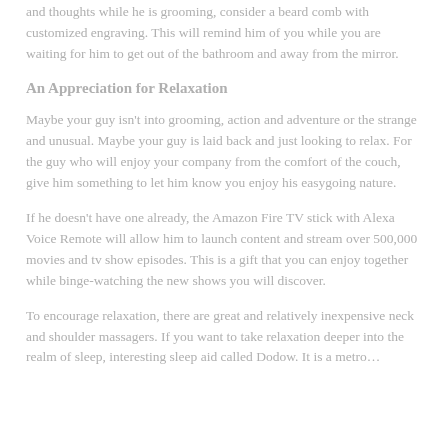and thoughts while he is grooming, consider a beard comb with customized engraving. This will remind him of you while you are waiting for him to get out of the bathroom and away from the mirror.
An Appreciation for Relaxation
Maybe your guy isn't into grooming, action and adventure or the strange and unusual. Maybe your guy is laid back and just looking to relax. For the guy who will enjoy your company from the comfort of the couch, give him something to let him know you enjoy his easygoing nature.
If he doesn't have one already, the Amazon Fire TV stick with Alexa Voice Remote will allow him to launch content and stream over 500,000 movies and tv show episodes. This is a gift that you can enjoy together while binge-watching the new shows you will discover.
To encourage relaxation, there are great and relatively inexpensive neck and shoulder massagers. If you want to take relaxation deeper into the realm of sleep, interesting sleep aid called Dodow. It is a metro…